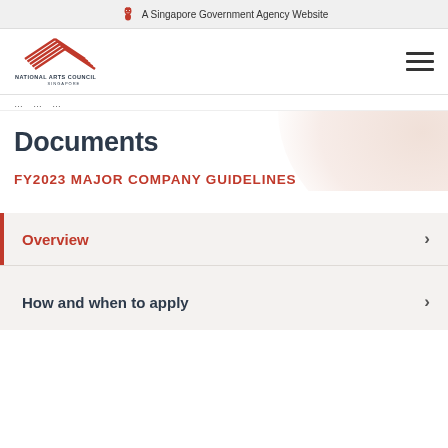A Singapore Government Agency Website
[Figure (logo): National Arts Council Singapore logo with red stylized mountain/wave design]
breadcrumb navigation partial
Documents
FY2023 MAJOR COMPANY GUIDELINES
Overview
How and when to apply